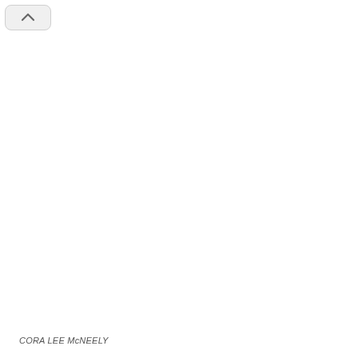[Figure (other): Back navigation button with upward chevron arrow icon, rounded rectangle shape]
CORA LEE McNEELY